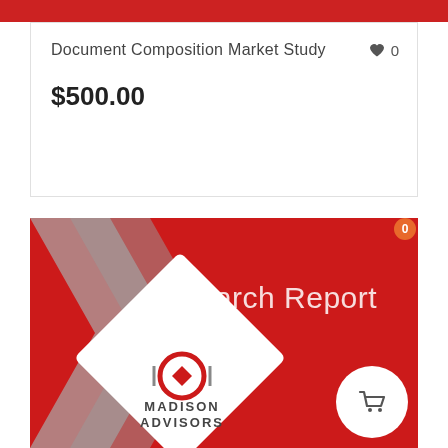Document Composition Market Study
$500.00
[Figure (illustration): Madison Advisors Research Report cover image - red background with gray geometric chevron, white diamond shape containing Madison Advisors logo, text 'Research Report' in white]